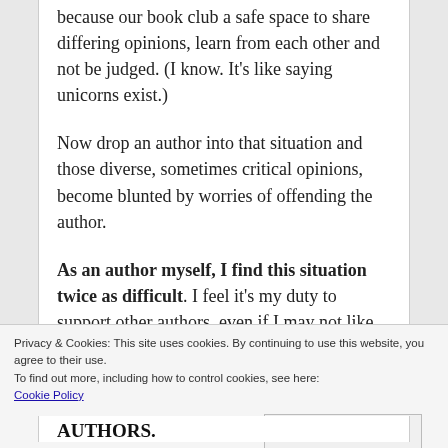because our book club a safe space to share differing opinions, learn from each other and not be judged. (I know. It's like saying unicorns exist.)
Now drop an author into that situation and those diverse, sometimes critical opinions, become blunted by worries of offending the author.
As an author myself, I find this situation twice as difficult. I feel it's my duty to support other authors, even if I may not like or find certain parts of their work troubling.
Privacy & Cookies: This site uses cookies. By continuing to use this website, you agree to their use.
To find out more, including how to control cookies, see here: Cookie Policy
Close and accept
AUTHORS.